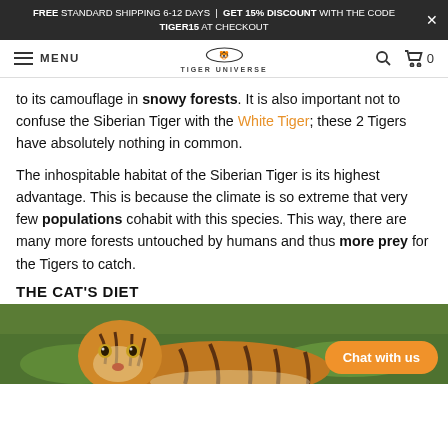FREE STANDARD SHIPPING 6-12 DAYS | GET 15% DISCOUNT WITH THE CODE TIGER15 AT CHECKOUT
MENU | TIGER UNIVERSE | 0
to its camouflage in snowy forests. It is also important not to confuse the Siberian Tiger with the White Tiger; these 2 Tigers have absolutely nothing in common.
The inhospitable habitat of the Siberian Tiger is its highest advantage. This is because the climate is so extreme that very few populations cohabit with this species. This way, there are many more forests untouched by humans and thus more prey for the Tigers to catch.
THE CAT'S DIET
[Figure (photo): Photo of a Siberian tiger lying in green grass, viewed from a close angle showing the tiger's face and upper body with orange and black striped fur.]